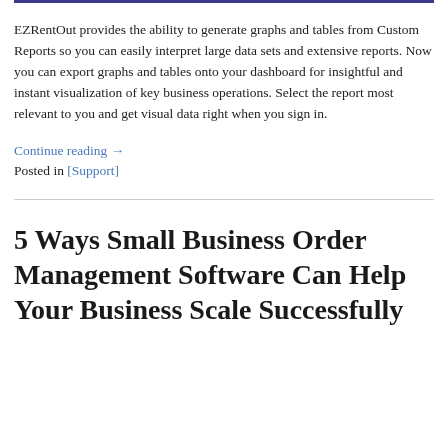EZRentOut provides the ability to generate graphs and tables from Custom Reports so you can easily interpret large data sets and extensive reports. Now you can export graphs and tables onto your dashboard for insightful and instant visualization of key business operations. Select the report most relevant to you and get visual data right when you sign in.
Continue reading →
Posted in [Support]
5 Ways Small Business Order Management Software Can Help Your Business Scale Successfully